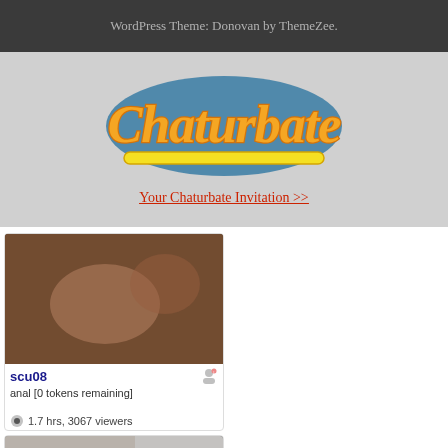WordPress Theme: Donovan by ThemeZee.
[Figure (logo): Chaturbate logo in orange and teal script lettering with yellow underline stroke]
Your Chaturbate Invitation >>
[Figure (photo): Webcam thumbnail for user scu08]
scu08
anal [0 tokens remaining]
1.7 hrs, 3067 viewers
[Figure (photo): Webcam thumbnail for user bIgtItslav123]
bIgtItslav123
current goal: doggy sex facing cam at 950 tokens – next goal:
3.3 hrs, 4160 viewers
[Figure (photo): Webcam thumbnail bottom left (partially visible)]
[Figure (photo): Webcam thumbnail bottom right (partially visible)]